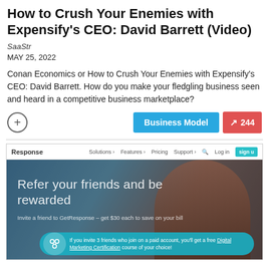How to Crush Your Enemies with Expensify's CEO: David Barrett (Video)
SaaStr
MAY 25, 2022
Conan Economics or How to Crush Your Enemies with Expensify's CEO: David Barrett. How do you make your fledgling business seen and heard in a competitive business marketplace?
[Figure (screenshot): GetResponse website screenshot showing navigation bar with 'Response' brand, Solutions, Features, Pricing, Support, Log in, and Sign Up button. Hero section with 'Refer your friends and be rewarded' heading, subtext about inviting a friend to GetResponse to get $30 each to save on your bill, and a cyan callout box with icon about inviting 3 friends to get a free Digital Marketing Certification course.]